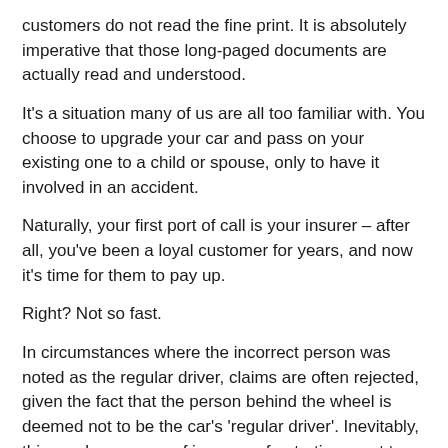customers do not read the fine print. It is absolutely imperative that those long-paged documents are actually read and understood.
It's a situation many of us are all too familiar with. You choose to upgrade your car and pass on your existing one to a child or spouse, only to have it involved in an accident.
Naturally, your first port of call is your insurer – after all, you've been a loyal customer for years, and now it's time for them to pay up.
Right? Not so fast.
In circumstances where the incorrect person was noted as the regular driver, claims are often rejected, given the fact that the person behind the wheel is deemed not to be the car's 'regular driver'. Inevitably, this can be a cause of immense frustration – not to mention financial complications – for policyholders, many of whom simply fail to realise the insurance implications of handing...